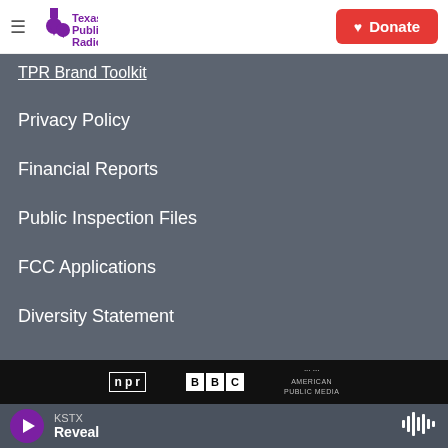Texas Public Radio | Donate
TPR Brand Toolkit
Privacy Policy
Financial Reports
Public Inspection Files
FCC Applications
Diversity Statement
[Figure (logo): NPR, BBC, and American Public Media logos on black strip]
KSTX Reveal